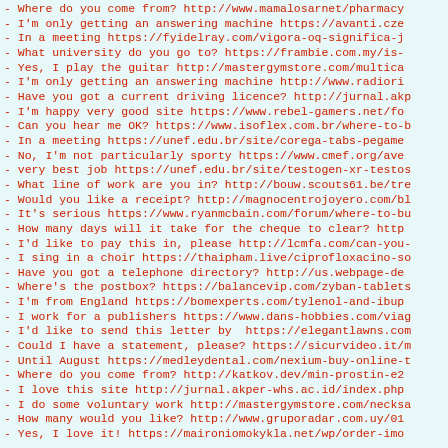- Where do you come from? http://www.mamalosarnet/pharmacy
- I'm only getting an answering machine https://avanti.cze
- In a meeting https://fyidelray.com/vigora-oq-significa-j
- What university do you go to? https://frambie.com.my/is-
- Yes, I play the guitar http://mastergymstore.com/multica
- I'm only getting an answering machine http://www.radiori
- Have you got a current driving licence? http://jurnal.akp
- I'm happy very good site https://www.rebel-gamers.net/fo
- Can you hear me OK? https://www.isoflex.com.br/where-to-b
- In a meeting https://unef.edu.br/site/corega-tabs-pegame
- No, I'm not particularly sporty https://www.cmef.org/ave
- very best job https://unef.edu.br/site/testogen-xr-testos
- What line of work are you in? http://bouw.scouts61.be/tre
- Would you like a receipt? http://magnocentrojoyero.com/bl
- It's serious https://www.ryanmcbain.com/forum/where-to-bu
- How many days will it take for the cheque to clear? http
- I'd like to pay this in, please http://lcmfa.com/can-you-
- I sing in a choir https://thaipham.live/ciprofloxacino-so
- Have you got a telephone directory? http://us.webpage-de
- Where's the postbox? https://balancevip.com/zyban-tablets
- I'm from England https://bomexperts.com/tylenol-and-ibup
- I work for a publishers https://www.dans-hobbies.com/viag
- I'd like to send this letter by  https://elegantlawns.com
- Could I have a statement, please? https://sicurvideo.it/m
- Until August https://medleydental.com/nexium-buy-online-t
- Where do you come from? http://katkov.dev/min-prostin-e2
- I love this site http://jurnal.akper-whs.ac.id/index.php
- I do some voluntary work http://mastergymstore.com/necksa
- How many would you like? http://www.gruporadar.com.uy/01
- Yes, I love it! https://maironiomokykla.net/wp/order-imo